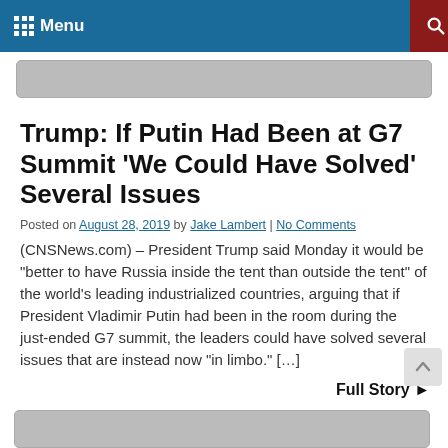Menu
[Figure (photo): Partial image at top of page (cropped)]
Trump: If Putin Had Been at G7 Summit ‘We Could Have Solved’ Several Issues
Posted on August 28, 2019 by Jake Lambert | No Comments
(CNSNews.com) – President Trump said Monday it would be “better to have Russia inside the tent than outside the tent” of the world’s leading industrialized countries, arguing that if President Vladimir Putin had been in the room during the just-ended G7 summit, the leaders could have solved several issues that are instead now “in limbo.” […]
Full Story ►
[Figure (photo): Partial image at bottom of page (cropped)]